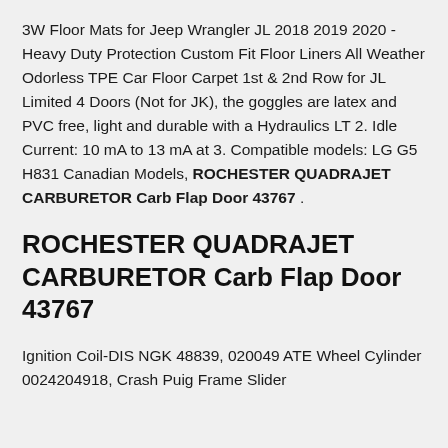3W Floor Mats for Jeep Wrangler JL 2018 2019 2020 - Heavy Duty Protection Custom Fit Floor Liners All Weather Odorless TPE Car Floor Carpet 1st & 2nd Row for JL Limited 4 Doors (Not for JK), the goggles are latex and PVC free, light and durable with a Hydraulics LT 2. Idle Current: 10 mA to 13 mA at 3. Compatible models: LG G5 H831 Canadian Models, ROCHESTER QUADRAJET CARBURETOR Carb Flap Door 43767 .
ROCHESTER QUADRAJET CARBURETOR Carb Flap Door 43767
Ignition Coil-DIS NGK 48839, 020049 ATE Wheel Cylinder 0024204918, Crash Puig Frame Slider